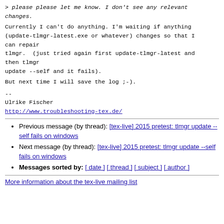> please please let me know. I don't see any relevant changes.
Currently I can't do anything. I'm waiting if anything (update-tlmgr-latest.exe or whatever) changes so that I can repair
tlmgr.  (just tried again first update-tlmgr-latest and then tlmgr
update --self and it fails).
But next time I will save the log ;-).
--
Ulrike Fischer
http://www.troubleshooting-tex.de/
Previous message (by thread): [tex-live] 2015 pretest: tlmgr update --self fails on windows
Next message (by thread): [tex-live] 2015 pretest: tlmgr update --self fails on windows
Messages sorted by: [ date ] [ thread ] [ subject ] [ author ]
More information about the tex-live mailing list